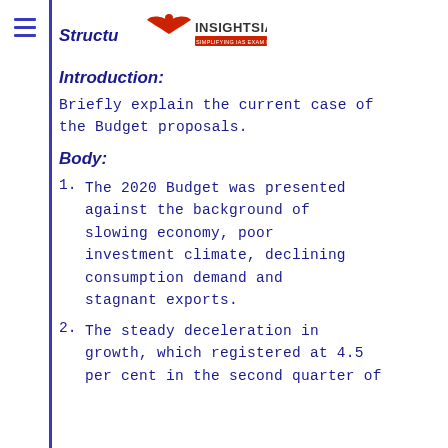Structu... INSIGHTSIAS – SIMPLIFYING IAS EXAM PREPARATION
Introduction:
Briefly explain the current case of the Budget proposals.
Body:
The 2020 Budget was presented against the background of slowing economy, poor investment climate, declining consumption demand and stagnant exports.
The steady deceleration in growth, which registered at 4.5 per cent in the second quarter of